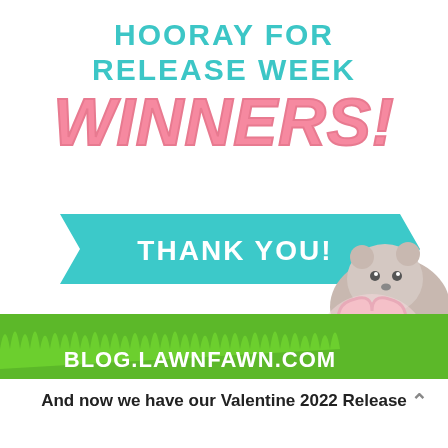HOORAY FOR RELEASE WEEK
WINNERS!
[Figure (illustration): Teal banner ribbon with white bold text 'THANK YOU!' and a cute illustrated hedgehog holding a pink heart with 'I heart U' text, with green grass at bottom and 'BLOG.LAWNFAWN.COM' text on green grass background]
And now we have our Valentine 2022 Release